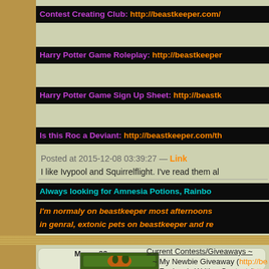Contest Creating Club: http://beastkeeper.com/...
Harry Potter Game Roleplay: http://beastkeeper...
Harry Potter Game Sign Up Sheet: http://beastk...
Is this Roc a Deviant: http://beastkeeper.com/th...
Mossy88
User
Posts: 338
[Figure (photo): Tiger face partially hidden behind green foliage/leaves]
Posted at 2015-12-08 03:39:27 — Link
I like Ivypool and Squirrelflight. I've read them all...
Always looking for Amnesia Potions, Rainbo...
I'm normaly on beastkeeper most afternoons... in genral, extonic pets on beastkeeper and re...
Current Contests/Giveaways ~
~ My Newbie Giveaway (http://beastkeeper....
~ Funlove's Writing Contest (http://beastkee...